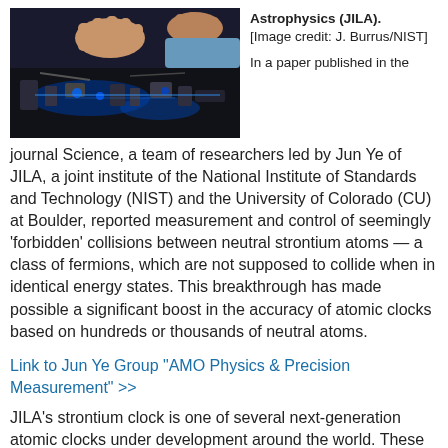[Figure (photo): A researcher's hands working with laboratory optics equipment including blue laser components and optical mounts on a dark optical table.]
Astrophysics (JILA). [Image credit: J. Burrus/NIST]
In a paper published in the journal Science, a team of researchers led by Jun Ye of JILA, a joint institute of the National Institute of Standards and Technology (NIST) and the University of Colorado (CU) at Boulder, reported measurement and control of seemingly 'forbidden' collisions between neutral strontium atoms — a class of fermions, which are not supposed to collide when in identical energy states. This breakthrough has made possible a significant boost in the accuracy of atomic clocks based on hundreds or thousands of neutral atoms.
Link to Jun Ye Group "AMO Physics & Precision Measurement" >>
JILA's strontium clock is one of several next-generation atomic clocks under development around the world. These experimental clocks are based on a variety of different